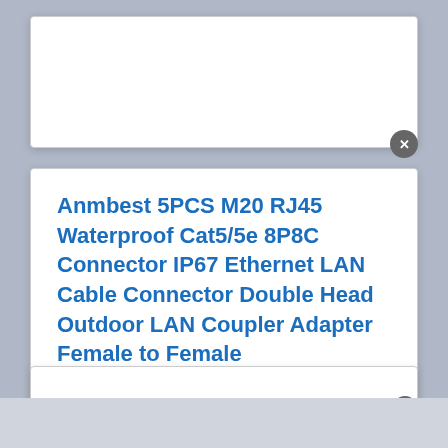[Figure (screenshot): Top white modal/popup card (empty, partially visible)]
Anmbest 5PCS M20 RJ45 Waterproof Cat5/5e 8P8C Connector IP67 Ethernet LAN Cable Connector Double Head Outdoor LAN Coupler Adapter Female to Female
[Figure (logo): Amazon Prime badge with checkmark and 'Prime' text in blue italic]
[Figure (screenshot): Amazon 'View Product' button with orange-yellow gradient background and Amazon 'a' logo]
[Figure (screenshot): Bottom partial white modal/popup card partially visible at bottom of page]